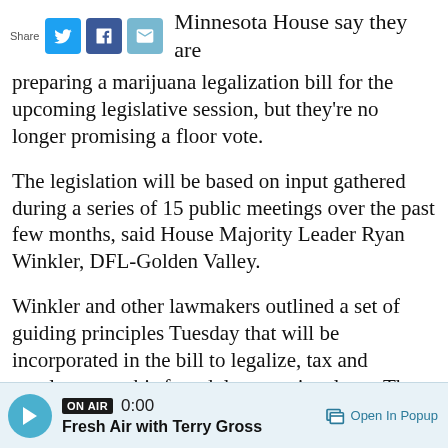Share [Twitter] [Facebook] [Email] Minnesota House say they are preparing a marijuana legalization bill for the upcoming legislative session, but they're no longer promising a floor vote.
The legislation will be based on input gathered during a series of 15 public meetings over the past few months, said House Majority Leader Ryan Winkler, DFL-Golden Valley.
Winkler and other lawmakers outlined a set of guiding principles Tuesday that will be incorporated in the bill to legalize, tax and regulate cannabis for adult recreational use. The principles cover the business, public safety and health aspects of legalization.
ON AIR 0:00 Fresh Air with Terry Gross  Open In Popup